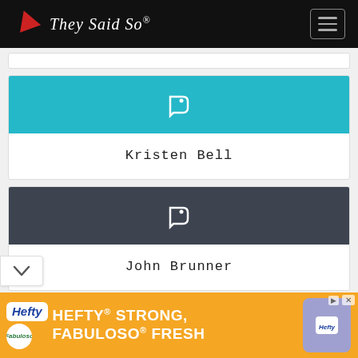They Said So®
[Figure (other): Teal card with white tag icon for Kristen Bell]
Kristen Bell
[Figure (other): Dark gray card with white tag icon for John Brunner]
John Brunner
[Figure (other): Hefty advertisement banner: HEFTY STRONG, FABULOSO FRESH]